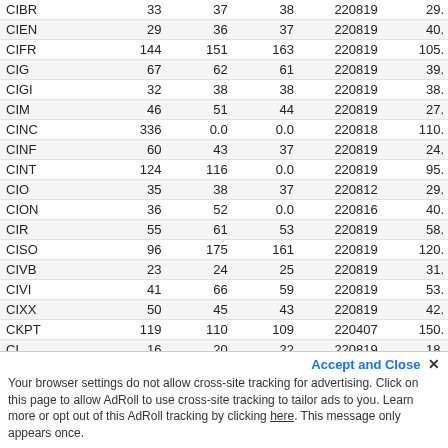| Symbol |  |  |  | Date |  |
| --- | --- | --- | --- | --- | --- |
| CIBR | 33 | 37 | 38 | 220819 | 29. |
| CIEN | 29 | 36 | 37 | 220819 | 40. |
| CIFR | 144 | 151 | 163 | 220819 | 105. |
| CIG | 67 | 62 | 61 | 220819 | 39. |
| CIGI | 32 | 38 | 38 | 220819 | 38. |
| CIM | 46 | 51 | 44 | 220819 | 27. |
| CINC | 336 | 0.0 | 0.0 | 220818 | 110. |
| CINF | 60 | 43 | 37 | 220819 | 24. |
| CINT | 124 | 116 | 0.0 | 220819 | 95. |
| CIO | 35 | 38 | 37 | 220812 | 29. |
| CION | 36 | 52 | 0.0 | 220816 | 40. |
| CIR | 55 | 61 | 53 | 220819 | 58. |
| CISO | 96 | 175 | 161 | 220819 | 120. |
| CIVB | 23 | 24 | 25 | 220819 | 31. |
| CIVI | 41 | 66 | 59 | 220819 | 53. |
| CIXX | 50 | 45 | 43 | 220819 | 42. |
| CKPT | 119 | 110 | 109 | 220407 | 150. |
| CL | 16 | 20 | 22 | 220819 | 18. |
| CLAR | 70 | 67 | 69 | 220819 | 121. |
| CLB | 62 | 70 | 62 | 220819 | 69. |
Your browser settings do not allow cross-site tracking for advertising. Click on this page to allow AdRoll to use cross-site tracking to tailor ads to you. Learn more or opt out of this AdRoll tracking by clicking here. This message only appears once.